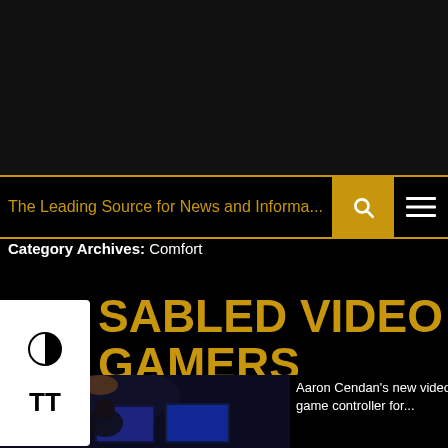The Leading Source for News and Informa...
Category Archives: Comfort
DISABLED VIDEO GAMERS FIND MORE OPTIONS AS EA, OTHERS EXPAND CHOICES
[Figure (photo): Person playing video games in a dark room with multiple monitors showing games]
Aaron Cendan's new video game controller for...